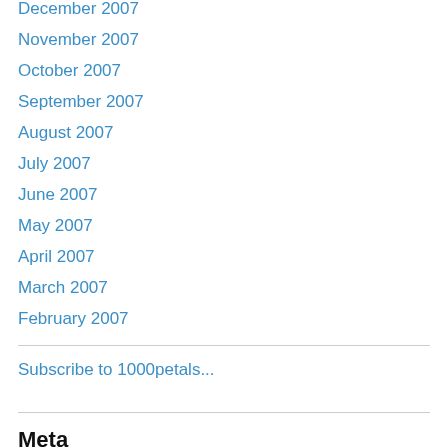December 2007
November 2007
October 2007
September 2007
August 2007
July 2007
June 2007
May 2007
April 2007
March 2007
February 2007
Subscribe to 1000petals...
Meta
Register
Log in